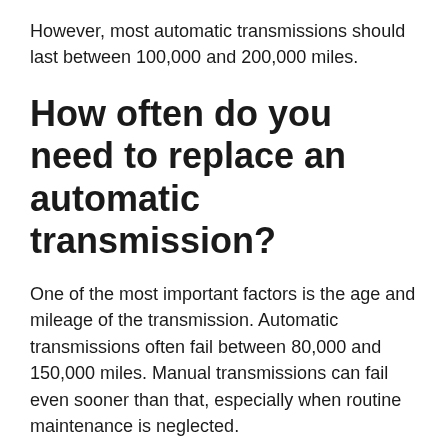However, most automatic transmissions should last between 100,000 and 200,000 miles.
How often do you need to replace an automatic transmission?
One of the most important factors is the age and mileage of the transmission. Automatic transmissions often fail between 80,000 and 150,000 miles. Manual transmissions can fail even sooner than that, especially when routine maintenance is neglected.
What are the signs of an automatic transmission